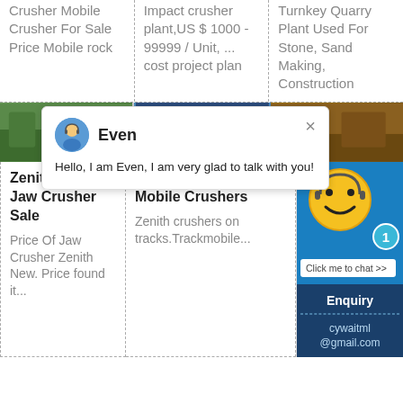Crusher Mobile Crusher For Sale Price Mobile rock
Impact crusher plant,US $ 1000 - 99999 / Unit, ... cost project plan
Turnkey Quarry Plant Used For Stone, Sand Making, Construction
[Figure (photo): Three product image thumbnails in a row]
[Figure (screenshot): Chat popup overlay with avatar of agent named Even, message: Hello, I am Even, I am very glad to talk with you!]
Zenith Mobile Jaw Crusher Sale
Price Of Jaw Crusher Zenith New. Price found it...
Prices Of Zenith Mobile Crushers
Zenith crushers on tracks.Trackmobile...
Enquiry
cywaitml@gmail.com